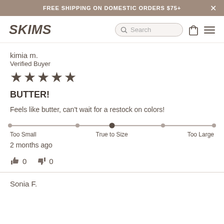FREE SHIPPING ON DOMESTIC ORDERS $75+
[Figure (screenshot): SKIMS logo and navigation bar with search, bag icon, and hamburger menu]
kimia m.
Verified Buyer
★★★★★
BUTTER!
Feels like butter, can't wait for a restock on colors!
[Figure (infographic): Size fit slider with indicator at True to Size, ranging from Too Small to Too Large]
2 months ago
👍 0   👎 0
Sonia F.